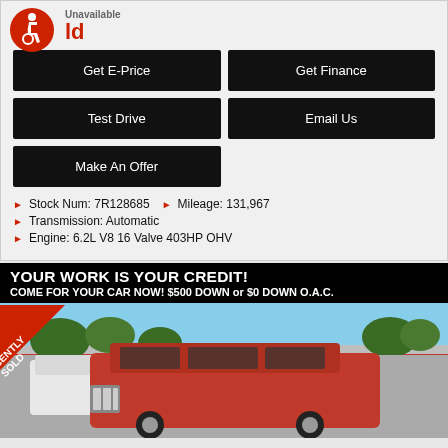Unavailable
Sold
[Figure (illustration): Wheelchair accessibility icon — red circle with white wheelchair user symbol]
Get E-Price
Get Finance
Test Drive
Email Us
Make An Offer
Stock Num: 7R128685   Mileage: 131,967
Transmission: Automatic
Engine: 6.2L V8 16 Valve 403HP OHV
[Figure (photo): Red SUV/truck at a car dealership lot with trees and sky in background. 'RECENTLY SOLD' diagonal red badge in top-left corner. Black banner overlay at top reading 'YOUR WORK IS YOUR CREDIT!' and 'COME FOR YOUR CAR NOW! $500 DOWN or $0 DOWN O.A.C.']